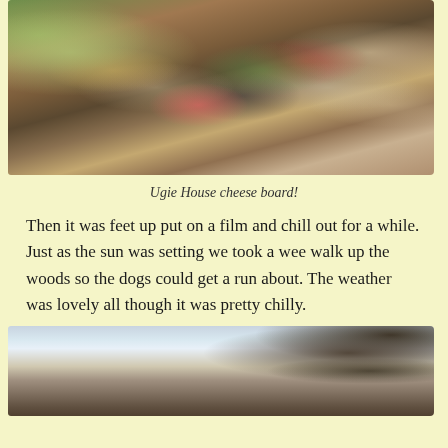[Figure (photo): Overhead view of a cheese board spread with deli meats, grapes, crackers, olives (green and black), jams, and packaged bread/crackers on a dark wooden surface]
Ugie House cheese board!
Then it was feet up put on a film and chill out for a while. Just as the sun was setting we took a wee walk up the woods so the dogs could get a run about. The weather was lovely all though it was pretty chilly.
[Figure (photo): Winter landscape at sunset with bare trees silhouetted against a pale sky on the right side, open field in the foreground]